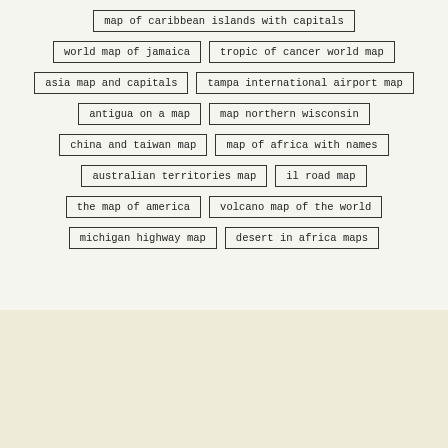map of caribbean islands with capitals
world map of jamaica
tropic of cancer world map
asia map and capitals
tampa international airport map
antigua on a map
map northern wisconsin
china and taiwan map
map of africa with names
australian territories map
il road map
the map of america
volcano map of the world
michigan highway map
desert in africa maps
© 2018 Wiki Travel. All rights reserved. Privacy Policy | License | Contact Us